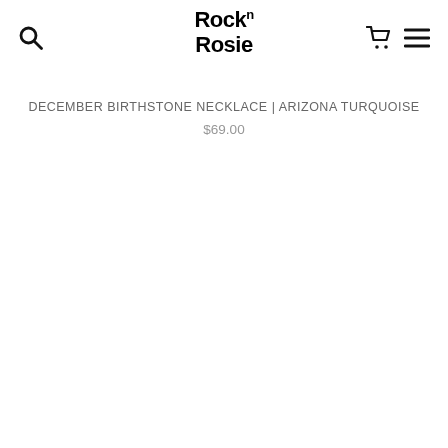Rock n Rosie
December Birthstone Necklace | Arizona Turquoise
$69.00